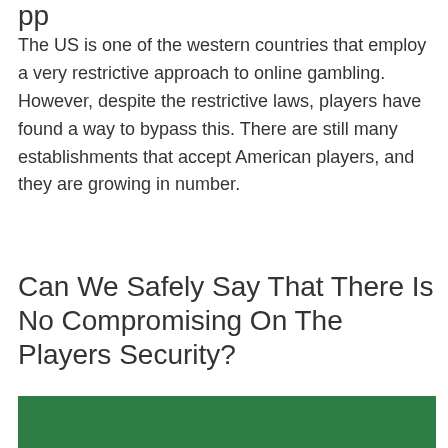pp
The US is one of the western countries that employ a very restrictive approach to online gambling. However, despite the restrictive laws, players have found a way to bypass this. There are still many establishments that accept American players, and they are growing in number.
Can We Safely Say That There Is No Compromising On The Players Security?
[Figure (photo): Green rectangular image, partially visible at bottom of page]